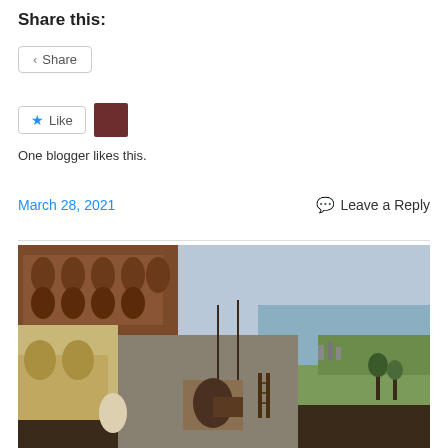Share this:
[Figure (screenshot): Share button with share icon]
[Figure (screenshot): Like button with star icon and blogger avatar thumbnail]
One blogger likes this.
March 28, 2021
Leave a Reply
[Figure (photo): Detail from Pieter Bruegel the Elder's Tower of Babel painting showing the tower construction on the left with arched stonework and a panoramic landscape with water in the background on the right.]